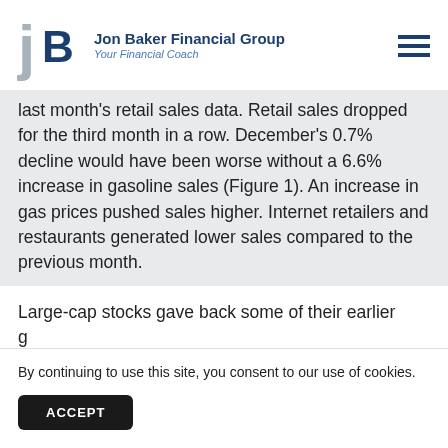[Figure (logo): Jon Baker Financial Group logo with stylized JB letters and tagline 'Your Financial Coach']
last month's retail sales data. Retail sales dropped for the third month in a row. December's 0.7% decline would have been worse without a 6.6% increase in gasoline sales (Figure 1). An increase in gas prices pushed sales higher. Internet retailers and restaurants generated lower sales compared to the previous month.
Large-cap stocks gave back some of their earlier g s B
By continuing to use this site, you consent to our use of cookies.